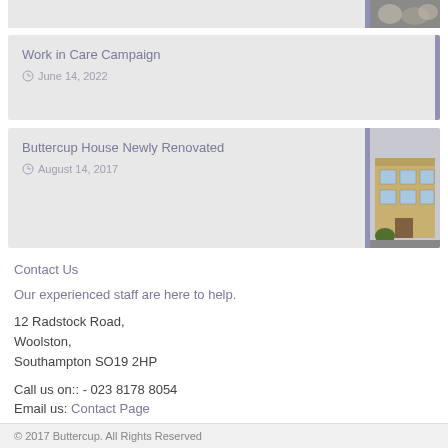[Figure (photo): Partial top card with image (cropped at top)]
Work in Care Campaign
June 14, 2022
Buttercup House Newly Renovated
August 14, 2017
[Figure (photo): Photo of Buttercup House building exterior]
Contact Us
Our experienced staff are here to help.
12 Radstock Road,
Woolston,
Southampton SO19 2HP
Call us on:: - 023 8178 8054
Email us: Contact Page
© 2017 Buttercup. All Rights Reserved